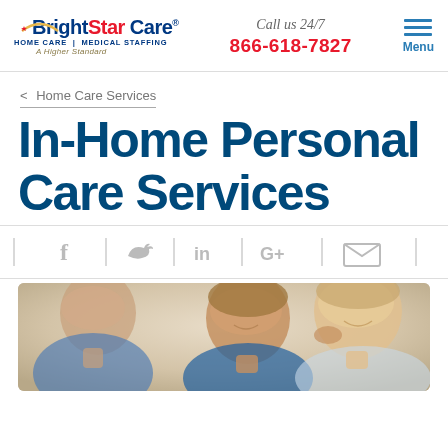BrightStar Care | HOME CARE | MEDICAL STAFFING | A Higher Standard | Call us 24/7 | 866-618-7827 | Menu
< Home Care Services
In-Home Personal Care Services
[Figure (infographic): Social media sharing icons row: Facebook (f), Twitter (bird), LinkedIn (in), Google+ (G+), Email (envelope)]
[Figure (photo): Two smiling women, one helping the other with earrings or makeup, warm indoor setting]